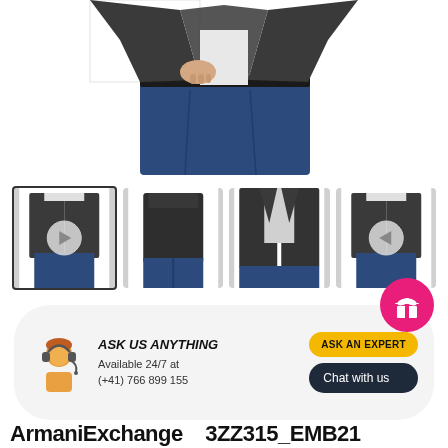[Figure (photo): Main product photo: man wearing a dark grey blazer-style cardigan jacket with jeans, cropped at torso/hand level]
[Figure (photo): Thumbnail strip showing 4 views of the same dark grey blazer-style cardigan jacket on a male model: front, back, front-close, front-right. First thumbnail is selected/active with border.]
ASK US ANYTHING
Available 24/7 at
(+41) 766 899 155
ASK AN EXPERT
Chat with us